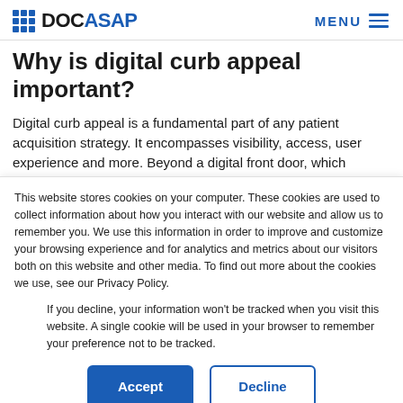DOCASAP | MENU
Why is digital curb appeal important?
Digital curb appeal is a fundamental part of any patient acquisition strategy. It encompasses visibility, access, user experience and more. Beyond a digital front door, which
This website stores cookies on your computer. These cookies are used to collect information about how you interact with our website and allow us to remember you. We use this information in order to improve and customize your browsing experience and for analytics and metrics about our visitors both on this website and other media. To find out more about the cookies we use, see our Privacy Policy.
If you decline, your information won't be tracked when you visit this website. A single cookie will be used in your browser to remember your preference not to be tracked.
Accept | Decline